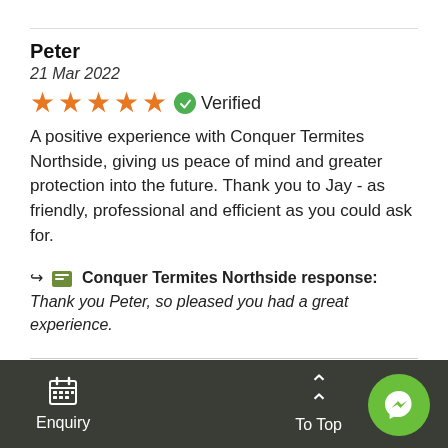Peter
21 Mar 2022
★★★★★ ✅ Verified
A positive experience with Conquer Termites Northside, giving us peace of mind and greater protection into the future. Thank you to Jay - as friendly, professional and efficient as you could ask for.
↦ 🏢 Conquer Termites Northside response: Thank you Peter, so pleased you had a great experience.
Read more reviews
Enquiry   To Top